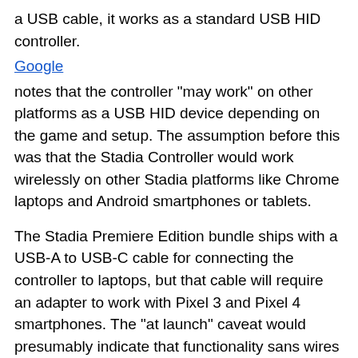a USB cable, it works as a standard USB HID controller.
Google notes that the controller "may work" on other platforms as a USB HID device depending on the game and setup. The assumption before this was that the Stadia Controller would work wirelessly on other Stadia platforms like Chrome laptops and Android smartphones or tablets.
The Stadia Premiere Edition bundle ships with a USB-A to USB-C cable for connecting the controller to laptops, but that cable will require an adapter to work with Pixel 3 and Pixel 4 smartphones. The "at launch" caveat would presumably indicate that functionality sans wires with other devices may land later.
Google is talking up controller functionality via USB-C and Bluetooth audio being added post-launch. Google recently announced Stadia would launch November 19th and that the service uses predictive AI to anticipate user input and